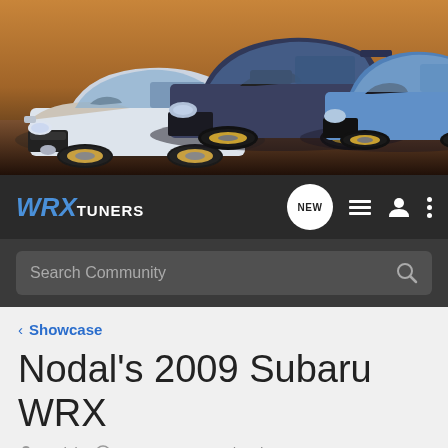[Figure (photo): Banner image showing three Subaru WRX cars (white, blue/dark, light blue) against a desert/dusk background]
[Figure (logo): WRX Tuners logo — WRX in blue italic bold, TUNERS in white uppercase — on dark navbar with NEW chat bubble icon, list icon, user icon, vertical dots icon]
Search Community
< Showcase
Nodal's 2009 Subaru WRX
Nodal · Oct 15, 2015 · Updated Sep 24, 2019
+ Follow